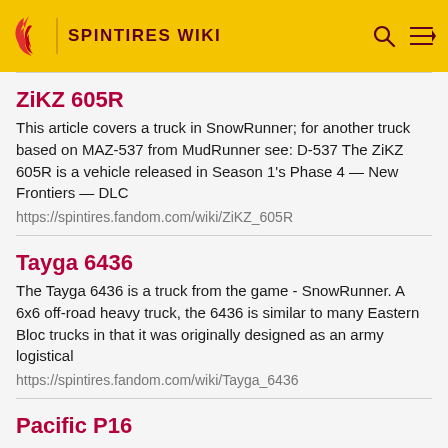SPINTIRES WIKI
ZiKZ 605R
This article covers a truck in SnowRunner; for another truck based on MAZ-537 from MudRunner see: D-537 The ZiKZ 605R is a vehicle released in Season 1's Phase 4 — New Frontiers — DLC
https://spintires.fandom.com/wiki/ZiKZ_605R
Tayga 6436
The Tayga 6436 is a truck from the game - SnowRunner. A 6x6 off-road heavy truck, the 6436 is similar to many Eastern Bloc trucks in that it was originally designed as an army logistical
https://spintires.fandom.com/wiki/Tayga_6436
Pacific P16
The Pacific P16 is a licensed truck from the game - SnowRunner.